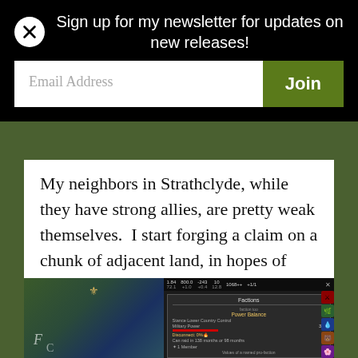Sign up for my newsletter for updates on new releases!
Email Address
Join
My neighbors in Strathclyde, while they have strong allies, are pretty weak themselves.  I start forging a claim on a chunk of adjacent land, in hopes of being able to expand a little further.
[Figure (screenshot): Screenshot of a video game showing a map view on the left with green terrain and water, and a game UI panel on the right showing 'Factions' dialog with options including 'Power Balance', 'Stance Lower Country Control', 'Military Power' at 3%, 'Disconnect: 0%', 'Can raid in 138 months or 98 months', '1 Member', and 'Values of a named pro-faction']